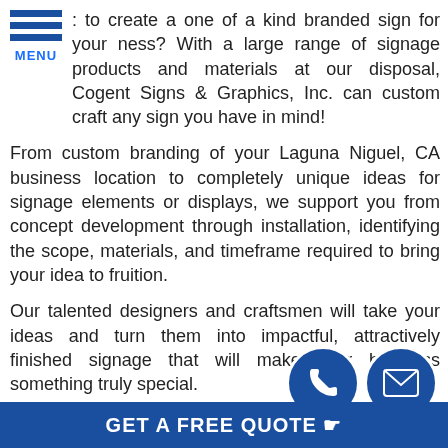[Figure (logo): Blue horizontal menu icon with three bars and MENU label]
: to create a one of a kind branded sign for your ness? With a large range of signage products and materials at our disposal, Cogent Signs & Graphics, Inc. can custom craft any sign you have in mind!
From custom branding of your Laguna Niguel, CA business location to completely unique ideas for signage elements or displays, we support you from concept development through installation, identifying the scope, materials, and timeframe required to bring your idea to fruition.
Our talented designers and craftsmen will take your ideas and turn them into impactful, attractively finished signage that will make your business something truly special.
Cogent Signs & Graphics, Inc. pays careful attention to the details, adding that extra touch of professionalism and polish to make your custom signage stand out.
[Figure (infographic): GET A FREE QUOTE button bar with phone and email circle icons]
GET A FREE QUOTE